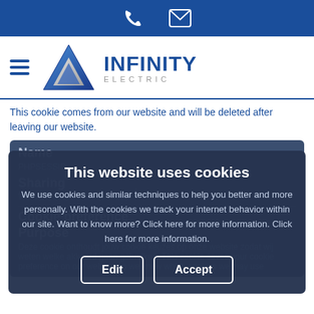Infinity Electric website header with phone and email icons
[Figure (logo): Infinity Electric logo with blue triangle and text]
This cookie comes from our website and will be deleted after leaving our website.
Name
PHPSESSID
Sharing
We don't share this information.
Cookie preference
Purpose
Deze cookie onthoudt jouw cookie keuzes op onze website zodat wij weten welke akkoord gaan gebruiken. This cookie saves your cookie preference on our website so we know which cookies we may use
This website uses cookies
We use cookies and similar techniques to help you better and more personally. With the cookies we track your internet behavior within our site. Want to know more? Click here for more information. Click here for more information.